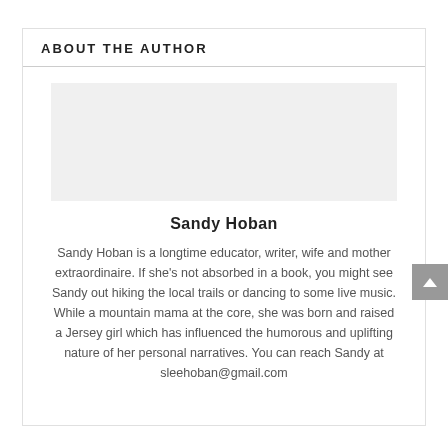ABOUT THE AUTHOR
[Figure (photo): Author photo placeholder (light gray box)]
Sandy Hoban
Sandy Hoban is a longtime educator, writer, wife and mother extraordinaire. If she’s not absorbed in a book, you might see Sandy out hiking the local trails or dancing to some live music. While a mountain mama at the core, she was born and raised a Jersey girl which has influenced the humorous and uplifting nature of her personal narratives. You can reach Sandy at sleehoban@gmail.com